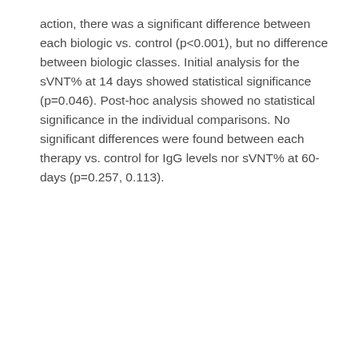action, there was a significant difference between each biologic vs. control (p<0.001), but no difference between biologic classes. Initial analysis for the sVNT% at 14 days showed statistical significance (p=0.046). Post-hoc analysis showed no statistical significance in the individual comparisons. No significant differences were found between each therapy vs. control for IgG levels nor sVNT% at 60-days (p=0.257, 0.113).